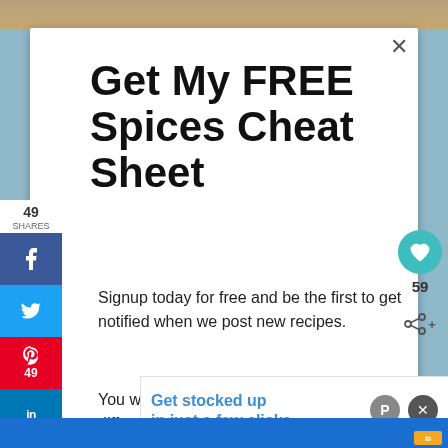[Figure (screenshot): Top image strip showing food/spices]
Get My FREE Spices Cheat Sheet
Signup today for free and be the first to get notified when we post new recipes.
You will also get a cheat sheet with over 30 different homemade spice mixes.
[Figure (screenshot): Ad banner: Get stocked up in just a few clicks. No markups or hidden fees.]